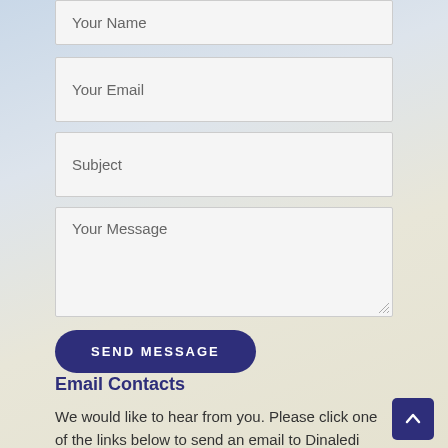Your Name
Your Email
Subject
Your Message
SEND MESSAGE
Email Contacts
We would like to hear from you. Please click one of the links below to send an email to Dinaledi Golf Society